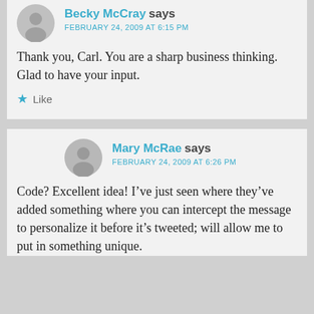Becky McCray says
FEBRUARY 24, 2009 AT 6:15 PM
Thank you, Carl. You are a sharp business thinking. Glad to have your input.
Like
Mary McRae says
FEBRUARY 24, 2009 AT 6:26 PM
Code? Excellent idea! I’ve just seen where they’ve added something where you can intercept the message to personalize it before it’s tweeted; will allow me to put in something unique.